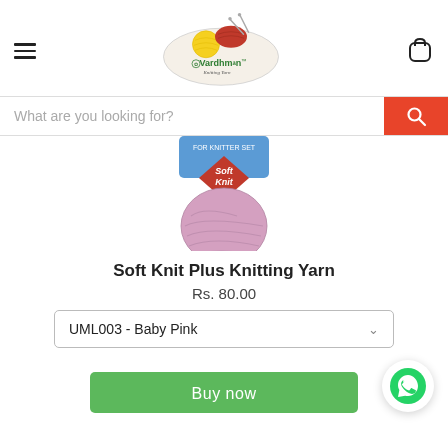[Figure (logo): Vardhman Knitting Yarn logo with yarn balls and needles inside an oval]
[Figure (screenshot): Search bar with placeholder text 'What are you looking for?' and orange search button]
[Figure (photo): Pink ball of Soft Knit Plus knitting yarn with blue and red label]
Soft Knit Plus Knitting Yarn
Rs. 80.00
UML003 - Baby Pink
Buy now